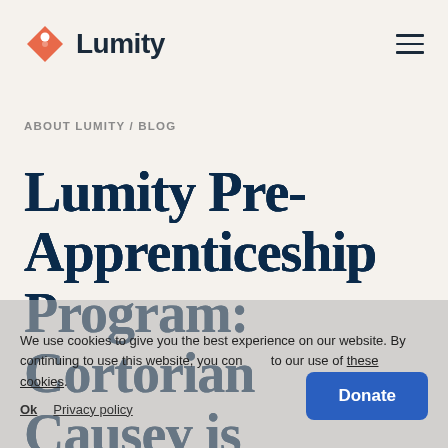Lumity
ABOUT LUMITY / BLOG
Lumity Pre-Apprenticeship Program: Cortorian Causey is Heading to [Bank] of America!
We use cookies to give you the best experience on our website. By continuing to use this website, you consent to our use of these cookies.
Ok   Privacy policy
Donate